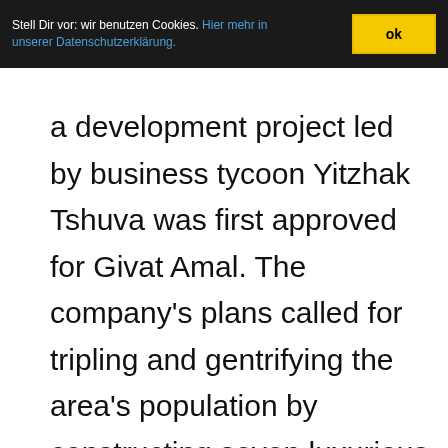Stell Dir vor: wir benutzen Cookies. Hier mehr in unserer Datenschutzerklärung. ok
a development project led by business tycoon Yitzhak Tshuva was first approved for Givat Amal. The company's plans called for tripling and gentrifying the area's population by constructing seven luxurious high-rise buildings, and displacing the previously settled Jewish population,